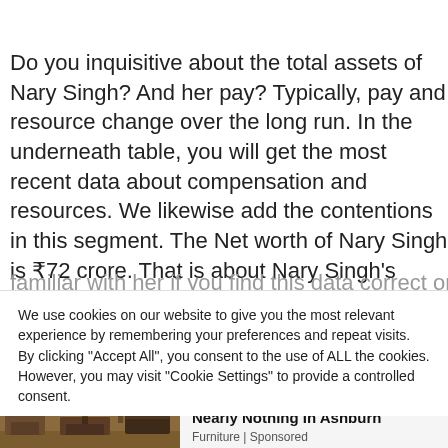Do you inquisitive about the total assets of Nary Singh? And her pay? Typically, pay and resource change over the long run. In the underneath table, you will get the most recent data about compensation and resources. We likewise add the contentions in this segment. The Net worth of Nary Singh is ₹72 crore. That is about Nary Singh's level, age, weight, and history. Trust the above data assists you with being familiar with her if you find this data correct or not...
We use cookies on our website to give you the most relevant experience by remembering your preferences and repeat visits. By clicking "Accept All", you consent to the use of ALL the cookies. However, you may visit "Cookie Settings" to provide a controlled consent.
[Figure (photo): A furniture store interior showing rows of sofas and furniture items with bright ceiling lights]
Unsold Furniture Selling For Nearly Nothing In Ashburn
Furniture | Sponsored